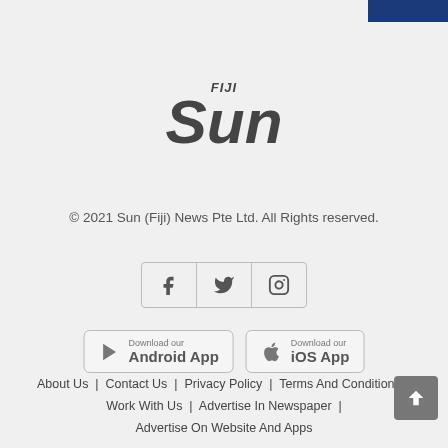[Figure (logo): Fiji Sun newspaper logo — 'FIJI' in small italic bold text above large italic bold 'Sun' text, dark grey color]
© 2021 Sun (Fiji) News Pte Ltd. All Rights Reserved.
[Figure (infographic): Social media icons: Facebook (f), Twitter (bird), Instagram (camera) — arranged horizontally in a bordered box]
[Figure (infographic): Two app download buttons side by side: 'Download our Android App' with Play Store triangle icon, and 'Download our iOS App' with Apple logo]
About Us | Contact Us | Privacy Policy | Terms And Conditions | Work With Us | Advertise In Newspaper | Advertise On Website And Apps